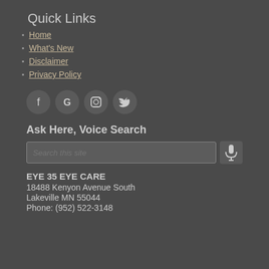Quick Links
Home
What's New
Disclaimer
Privacy Policy
[Figure (other): Social media icons: Facebook, Google, Instagram, Twitter]
Ask Here, Voice Search
Search this site
EYE 35 EYE CARE
18488 Kenyon Avenue South
Lakeville MN 55044
Phone: (952) 522-3148